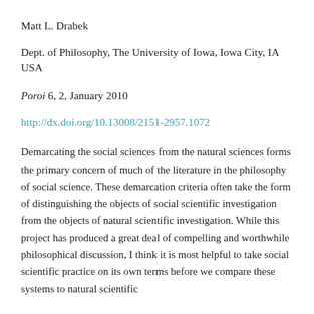Matt L. Drabek
Dept. of Philosophy, The University of Iowa, Iowa City, IA USA
Poroi 6, 2, January 2010
http://dx.doi.org/10.13008/2151-2957.1072
Demarcating the social sciences from the natural sciences forms the primary concern of much of the literature in the philosophy of social science. These demarcation criteria often take the form of distinguishing the objects of social scientific investigation from the objects of natural scientific investigation. While this project has produced a great deal of compelling and worthwhile philosophical discussion, I think it is most helpful to take social scientific practice on its own terms before we compare these systems to natural scientific